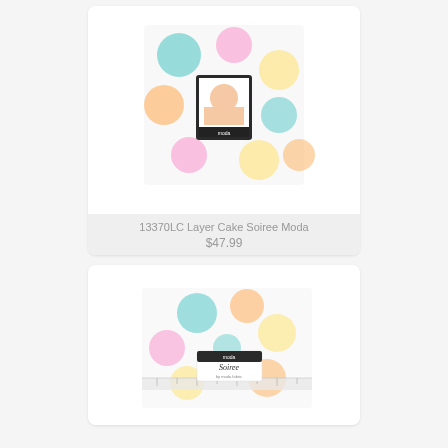[Figure (photo): Product photo of 13370LC Layer Cake Soiree Moda fabric bundle - white fabric with colorful polka dots in teal, pink, yellow, orange, and purple, with a Moda label showing a woman's face]
13370LC Layer Cake Soiree Moda
$47.99
[Figure (photo): Product photo of a Soiree fabric charm pack or mini roll - white fabric with colorful polka dots in teal, pink, yellow, orange colors, with a Soiree by Moda label]